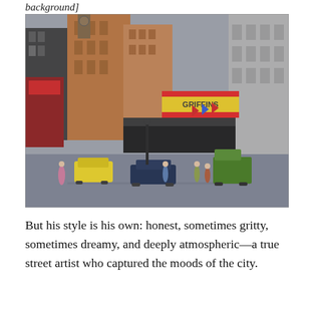background]
[Figure (illustration): An impressionist-style oil painting of a busy urban street scene, showing buildings, storefronts with signs, pedestrians, and vehicles (yellow taxi, dark cars) on a city street. The palette includes grays, browns, reds, and yellows with a hazy, atmospheric quality.]
But his style is his own: honest, sometimes gritty, sometimes dreamy, and deeply atmospheric—a true street artist who captured the moods of the city.